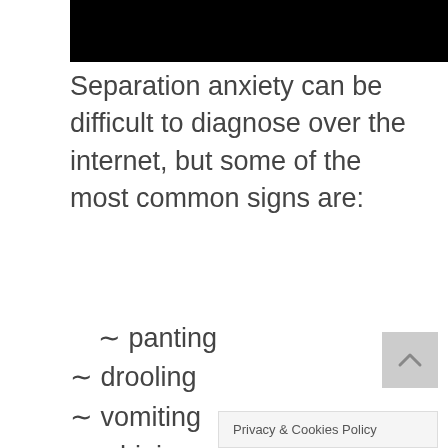[Figure (other): Black header bar at top of page]
Separation anxiety can be difficult to diagnose over the internet, but some of the most common signs are:
~ panting
~ drooling
~ vomiting
~ whining and crying
~ toileting
~ chewing
~ eating through walls
doorframes...
Privacy & Cookies Policy